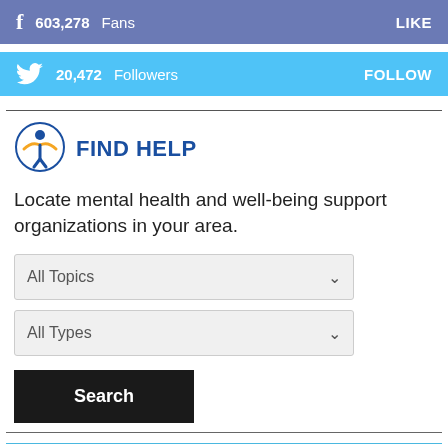[Figure (infographic): Facebook bar showing 603,278 Fans with LIKE button on blue-purple background]
[Figure (infographic): Twitter bar showing 20,472 Followers with FOLLOW button on light blue background]
[Figure (logo): Find Help logo - stylized figure icon in blue and gold]
FIND HELP
Locate mental health and well-being support organizations in your area.
[Figure (screenshot): All Topics dropdown selector]
[Figure (screenshot): All Types dropdown selector]
[Figure (screenshot): Search button (black)]